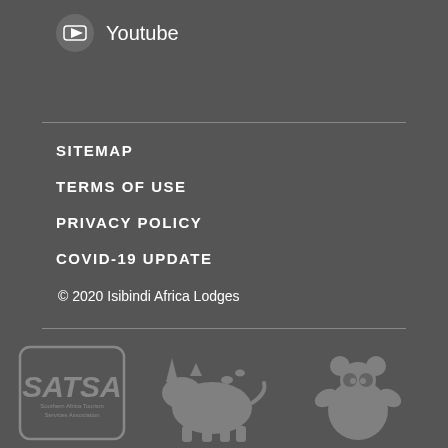[Figure (logo): YouTube icon circle with play button]
Youtube
SITEMAP
TERMS OF USE
PRIVACY POLICY
COVID-19 UPDATE
© 2020 Isibindi Africa Lodges
[Figure (logo): SATSA Southern Africa Tourism Services Association logo in a rounded rectangle]
[Figure (logo): Rhino logo/icon in grey]
[Figure (logo): WWF panda logo in grey]